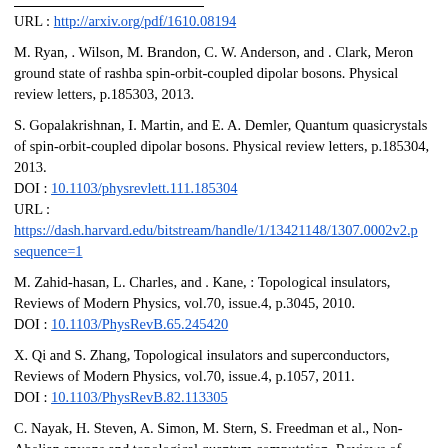URL : http://arxiv.org/pdf/1610.08194
M. Ryan, . Wilson, M. Brandon, C. W. Anderson, and . Clark, Meron ground state of rashba spin-orbit-coupled dipolar bosons. Physical review letters, p.185303, 2013.
S. Gopalakrishnan, I. Martin, and E. A. Demler, Quantum quasicrystals of spin-orbit-coupled dipolar bosons. Physical review letters, p.185304, 2013. DOI : 10.1103/physrevlett.111.185304 URL : https://dash.harvard.edu/bitstream/handle/1/13421148/1307.0002v2.p sequence=1
M. Zahid-hasan, L. Charles, and . Kane, : Topological insulators, Reviews of Modern Physics, vol.70, issue.4, p.3045, 2010. DOI : 10.1103/PhysRevB.65.245420
X. Qi and S. Zhang, Topological insulators and superconductors, Reviews of Modern Physics, vol.70, issue.4, p.1057, 2011. DOI : 10.1103/PhysRevB.82.113305
C. Nayak, H. Steven, A. Simon, M. Stern, S. Freedman et al., Non-Abelian anyons and topological quantum computation, Reviews of Modern Physics, vol.105, issue.3, p.1083, 2008.